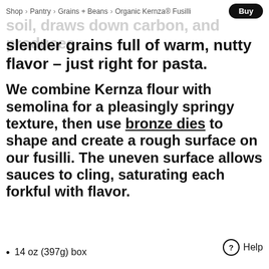Shop > Pantry > Grains + Beans > Organic Kernza® Fusilli | Buy
soil, draws down carbon, and produces slender grains full of warm, nutty flavor – just right for pasta.
We combine Kernza flour with semolina for a pleasingly springy texture, then use bronze dies to shape and create a rough surface on our fusilli. The uneven surface allows sauces to cling, saturating each forkful with flavor.
14 oz (397g) box